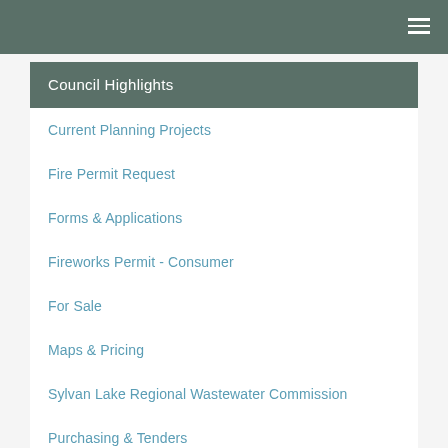Council Highlights
Current Planning Projects
Fire Permit Request
Forms & Applications
Fireworks Permit - Consumer
For Sale
Maps & Pricing
Sylvan Lake Regional Wastewater Commission
Purchasing & Tenders
OptionPay Portal